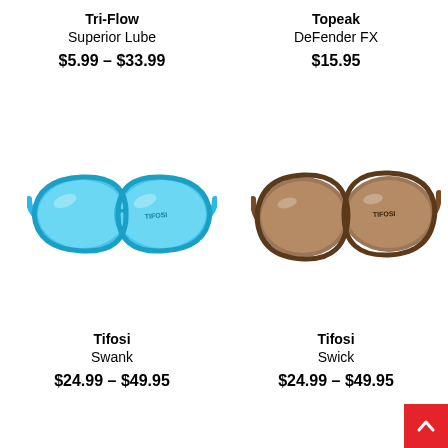Tri-Flow
Superior Lube
$5.99 – $33.99
Topeak
DeFender FX
$15.95
[Figure (photo): Blue Tifosi Swank sunglasses with mirrored lenses on white background]
[Figure (photo): Brown Tifosi Swick sunglasses with tinted lenses on white background]
Tifosi
Swank
$24.99 – $49.95
Tifosi
Swick
$24.99 – $49.95